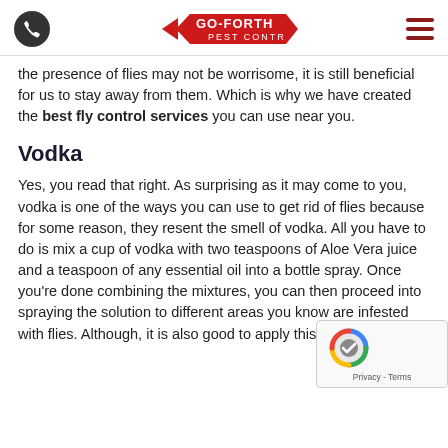Go-Forth Pest Control logo, phone icon, hamburger menu
the presence of flies may not be worrisome, it is still beneficial for us to stay away from them. Which is why we have created the best fly control services you can use near you.
Vodka
Yes, you read that right. As surprising as it may come to you, vodka is one of the ways you can use to get rid of flies because for some reason, they resent the smell of vodka. All you have to do is mix a cup of vodka with two teaspoons of Aloe Vera juice and a teaspoon of any essential oil into a bottle spray. Once you're done combining the mixtures, you can then proceed into spraying the solution to different areas you know are infested with flies. Although, it is also good to apply this